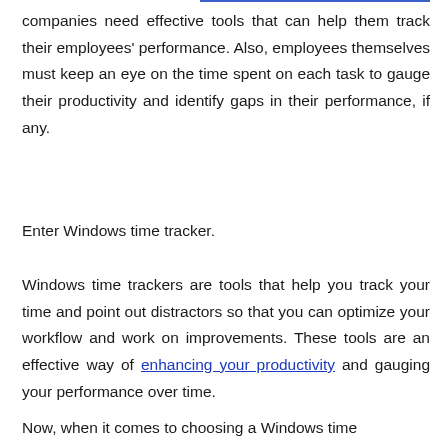companies need effective tools that can help them track their employees' performance. Also, employees themselves must keep an eye on the time spent on each task to gauge their productivity and identify gaps in their performance, if any.
Enter Windows time tracker.
Windows time trackers are tools that help you track your time and point out distractors so that you can optimize your workflow and work on improvements. These tools are an effective way of enhancing your productivity and gauging your performance over time.
Now, when it comes to choosing a Windows time